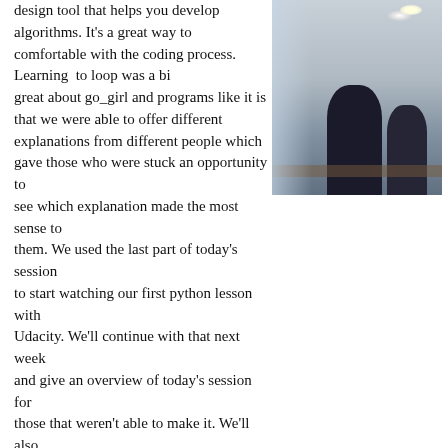design tool that helps you develop algorithms. It's a great way to get comfortable with the coding process. Learning to loop was a bit... great about go_girl and programs like it is that we were able to offer different explanations from different people which gave those who were stuck an opportunity to see which explanation made the most sense to them. We used the last part of today's session to start watching our first python lesson with Udacity. We'll continue with that next week and give an overview of today's session for those that weren't able to make it. We'll also be taking our group photo with our new shirts and post it here for you all to see. Here are some coding resources
[Figure (photo): Photo of people sitting in a room, viewed from the side, with a bright ceiling light visible]
Learn to code on your iPad: http://twolivesleft.com/Codea/
Practice by playing this coding game that was programmed http://twolivesleft.com/CargoBot/
Learn programming in a 3D environment with Alice: http://